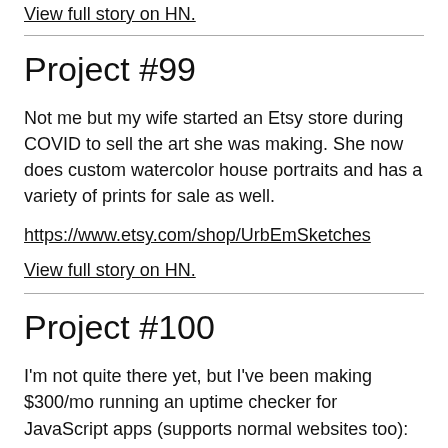View full story on HN.
Project #99
Not me but my wife started an Etsy store during COVID to sell the art she was making. She now does custom watercolor house portraits and has a variety of prints for sale as well.
https://www.etsy.com/shop/UrbEmSketches
View full story on HN.
Project #100
I'm not quite there yet, but I've been making $300/mo running an uptime checker for JavaScript apps (supports normal websites too):
https://onlineornot.com/